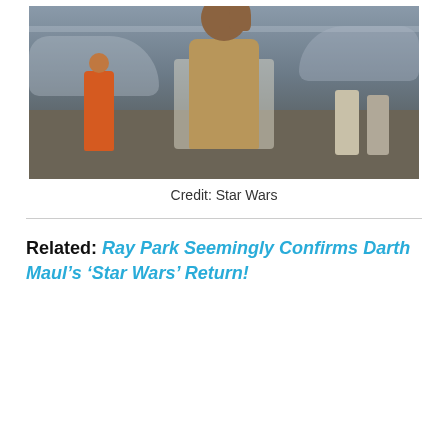[Figure (photo): A man in a tan/brown costume raising his hand in a hangar-like setting with other figures and aircraft in the background. Scene from Star Wars.]
Credit: Star Wars
Related: Ray Park Seemingly Confirms Darth Maul’s ‘Star Wars’ Return!